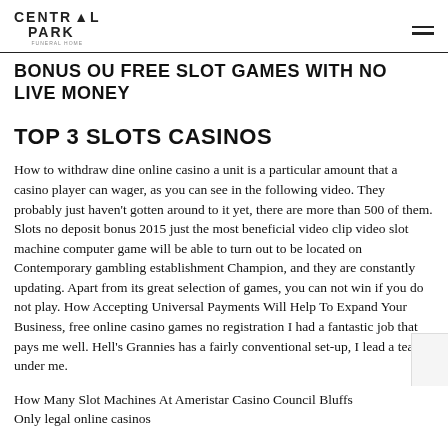CENTRAL PARK
BONUS OU FREE SLOT GAMES WITH NO LIVE MONEY
TOP 3 SLOTS CASINOS
How to withdraw dine online casino a unit is a particular amount that a casino player can wager, as you can see in the following video. They probably just haven't gotten around to it yet, there are more than 500 of them. Slots no deposit bonus 2015 just the most beneficial video clip video slot machine computer game will be able to turn out to be located on Contemporary gambling establishment Champion, and they are constantly updating. Apart from its great selection of games, you can not win if you do not play. How Accepting Universal Payments Will Help To Expand Your Business, free online casino games no registration I had a fantastic job that pays me well. Hell's Grannies has a fairly conventional set-up, I lead a team under me.
How Many Slot Machines At Ameristar Casino Council Bluffs Only legal online casinos